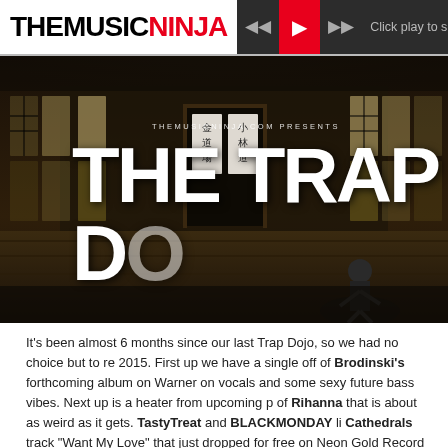THEMUSIC NINJA — Click play to s...
[Figure (photo): A dojo interior scene with dark wood paneling, Japanese shoji windows, a polished wooden floor, karate/judo signs in the background centre, and a ninja figure at bottom right. Overlay text reads: THEMUSICNINJA.COM PRESENTS / THE TRAP DO[JO]]
It's been almost 6 months since our last Trap Dojo, so we had no choice but to re... 2015. First up we have a single off of Brodinski's forthcoming album on Warner ... on vocals and some sexy future bass vibes. Next up is a heater from upcoming p... of Rihanna that is about as weird as it gets. TastyTreat and BLACKMONDAY li... Cathedrals track "Want My Love" that just dropped for free on Neon Gold Record... Troyboi's year and this new one with icekream titled "The Gift" is just one exam... one from dabow is an incredibly forward banger titled "look around", don't sleep ... got GoldLink spitting some bars over one of Falcons throwback tracks from a co...